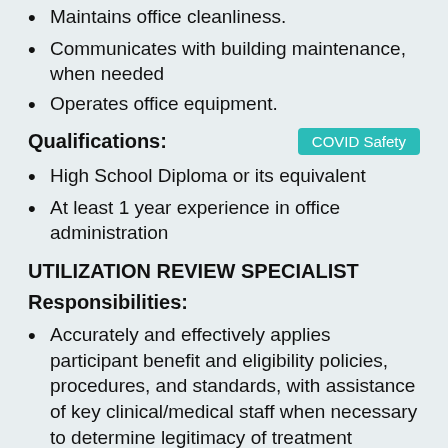Maintains office cleanliness.
Communicates with building maintenance, when needed
Operates office equipment.
Qualifications:
High School Diploma or its equivalent
At least 1 year experience in office administration
UTILIZATION REVIEW SPECIALIST
Responsibilities:
Accurately and effectively applies participant benefit and eligibility policies, procedures, and standards, with assistance of key clinical/medical staff when necessary to determine legitimacy of treatment